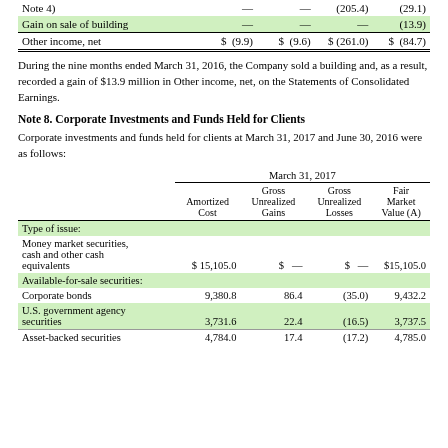|  |  |  |  |  |
| --- | --- | --- | --- | --- |
| Note 4) | — | — | (205.4) | (29.1) |
| Gain on sale of building | — | — | — | (13.9) |
| Other income, net | $ (9.9) | $ (9.6) | $ (261.0) | $ (84.7) |
During the nine months ended March 31, 2016, the Company sold a building and, as a result, recorded a gain of $13.9 million in Other income, net, on the Statements of Consolidated Earnings.
Note 8. Corporate Investments and Funds Held for Clients
Corporate investments and funds held for clients at March 31, 2017 and June 30, 2016 were as follows:
|  | Amortized Cost | Gross Unrealized Gains | Gross Unrealized Losses | Fair Market Value (A) |
| --- | --- | --- | --- | --- |
| Type of issue: |  |  |  |  |
| Money market securities, cash and other cash equivalents | $ 15,105.0 | $  — | $  — | $15,105.0 |
| Available-for-sale securities: |  |  |  |  |
| Corporate bonds | 9,380.8 | 86.4 | (35.0) | 9,432.2 |
| U.S. government agency securities | 3,731.6 | 22.4 | (16.5) | 3,737.5 |
| Asset-backed securities | 4,784.0 | 17.4 | (17.2) | 4,785.0 |